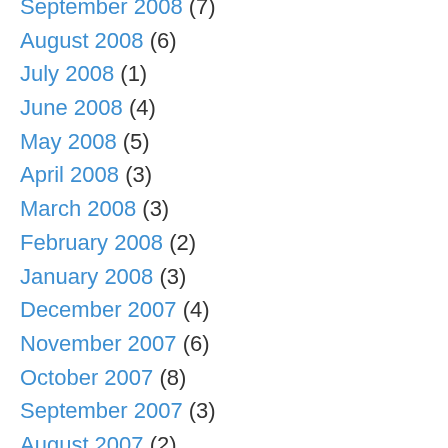September 2008 (7)
August 2008 (6)
July 2008 (1)
June 2008 (4)
May 2008 (5)
April 2008 (3)
March 2008 (3)
February 2008 (2)
January 2008 (3)
December 2007 (4)
November 2007 (6)
October 2007 (8)
September 2007 (3)
August 2007 (2)
July 2007 (3)